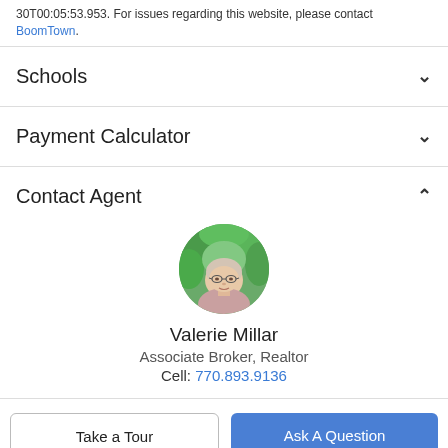30T00:05:53.953. For issues regarding this website, please contact BoomTown.
Schools
Payment Calculator
Contact Agent
[Figure (photo): Circular headshot of Valerie Millar, a woman with short light hair and glasses, outdoors with green foliage background.]
Valerie Millar
Associate Broker, Realtor
Cell: 770.893.9136